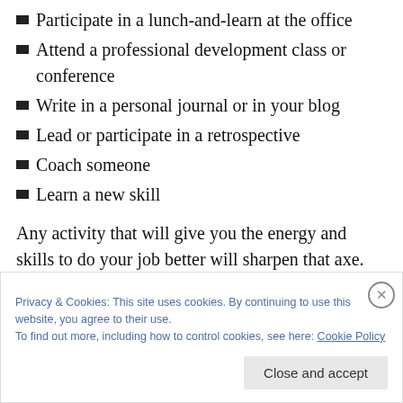Participate in a lunch-and-learn at the office
Attend a professional development class or conference
Write in a personal journal or in your blog
Lead or participate in a retrospective
Coach someone
Learn a new skill
Any activity that will give you the energy and skills to do your job better will sharpen that axe.
This week I am attending the PMI Leadership Institute Meeting, followed by the PMI Global Congress.  It's only
Privacy & Cookies: This site uses cookies. By continuing to use this website, you agree to their use.
To find out more, including how to control cookies, see here: Cookie Policy